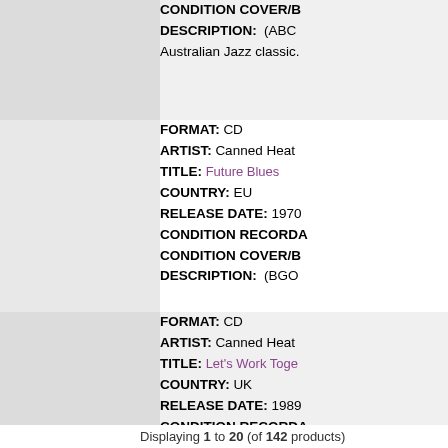| Image | Details |
| --- | --- |
| [image] | CONDITION COVER/B...
DESCRIPTION: (ABC
Australian Jazz classic. |
| [image] | FORMAT: CD
ARTIST: Canned Heat
TITLE: Future Blues
COUNTRY: EU
RELEASE DATE: 1970
CONDITION RECORDA...
CONDITION COVER/B...
DESCRIPTION: (BGO... |
| [image] | FORMAT: CD
ARTIST: Canned Heat
TITLE: Let's Work Toge...
COUNTRY: UK
RELEASE DATE: 1989
CONDITION RECORDA...
CONDITION COVER/B...
DESCRIPTION: (Liber...
again / Rollin' and Tumb...
The Chipmunk song ...B |
Displaying 1 to 20 (of 142 products)